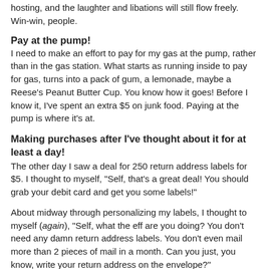hosting, and the laughter and libations will still flow freely. Win-win, people.
Pay at the pump!
I need to make an effort to pay for my gas at the pump, rather than in the gas station. What starts as running inside to pay for gas, turns into a pack of gum, a lemonade, maybe a Reese's Peanut Butter Cup. You know how it goes! Before I know it, I've spent an extra $5 on junk food. Paying at the pump is where it's at.
Making purchases after I've thought about it for at least a day!
The other day I saw a deal for 250 return address labels for $5. I thought to myself, "Self, that's a great deal! You should grab your debit card and get you some labels!"
About midway through personalizing my labels, I thought to myself (again), "Self, what the eff are you doing? You don't need any damn return address labels. You don't even mail more than 2 pieces of mail in a month. Can you just, you know, write your return address on the envelope?"